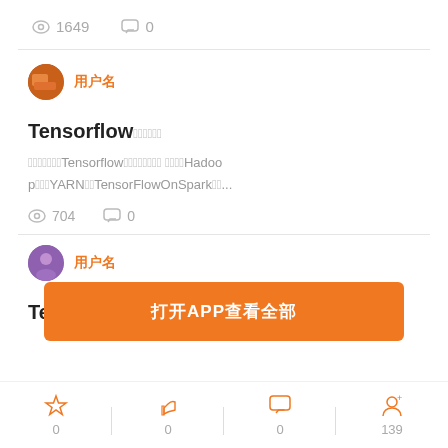👁 1649   💬 0
用户名
Tensorflow在平台部署实践
在企业级应用中Tensorflow模型的部署和管理 文章介绍Hadoop部署环境YARN集群TensorFlowOnSpark配置...
👁 704   💬 0
[Figure (screenshot): Orange CTA button overlay: 打开APP查看全部]
用户名
TensorFlow 学习笔记
☆ 0   👍 0   💬 0   👤+ 139